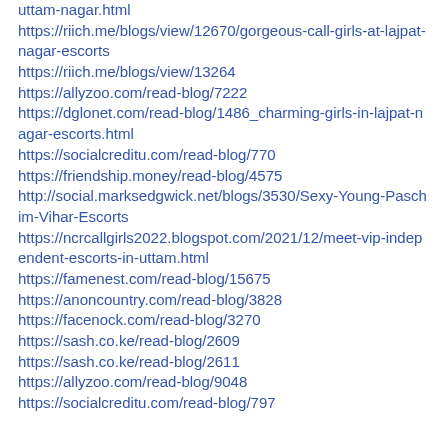uttam-nagar.html
https://riich.me/blogs/view/12670/gorgeous-call-girls-at-lajpat-nagar-escorts
https://riich.me/blogs/view/13264
https://allyzoo.com/read-blog/7222
https://dglonet.com/read-blog/1486_charming-girls-in-lajpat-nagar-escorts.html
https://socialcreditu.com/read-blog/770
https://friendship.money/read-blog/4575
http://social.marksedgwick.net/blogs/3530/Sexy-Young-Paschim-Vihar-Escorts
https://ncrcallgirls2022.blogspot.com/2021/12/meet-vip-independent-escorts-in-uttam.html
https://famenest.com/read-blog/15675
https://anoncountry.com/read-blog/3828
https://facenock.com/read-blog/3270
https://sash.co.ke/read-blog/2609
https://sash.co.ke/read-blog/2611
https://allyzoo.com/read-blog/9048
https://socialcreditu.com/read-blog/797